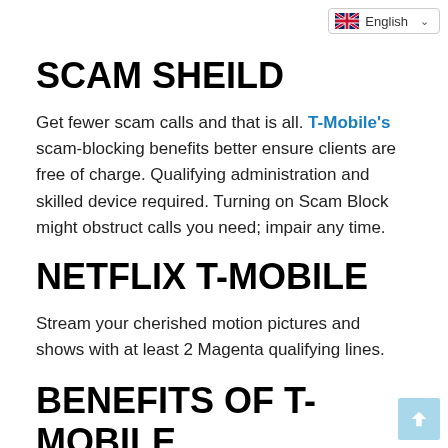[Figure (other): Language selector dropdown showing English with UK flag icon and chevron]
SCAM SHEILD
Get fewer scam calls and that is all. T-Mobile's scam-blocking benefits better ensure clients are free of charge. Qualifying administration and skilled device required. Turning on Scam Block might obstruct calls you need; impair any time.
NETFLIX T-MOBILE
Stream your cherished motion pictures and shows with at least 2 Magenta qualifying lines.
BENEFITS OF T-MOBILE WIRELESS